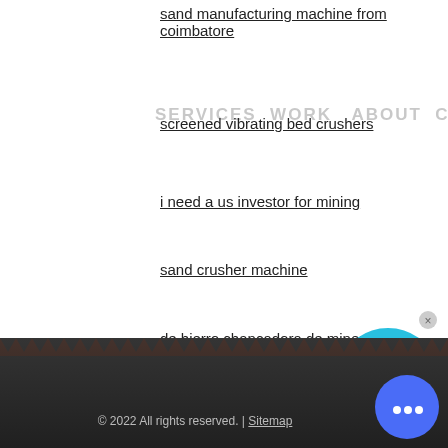sand manufacturing machine from coimbatore
screened vibrating bed crushers
i need a us investor for mining
sand crusher machine
de hierro chancadora de minerales
concrete plant turnkey
Compact Washer Dryer Combo Walmart
COLOR:
Orange
Blue
Yellow
© 2022 All rights reserved. | Sitemap